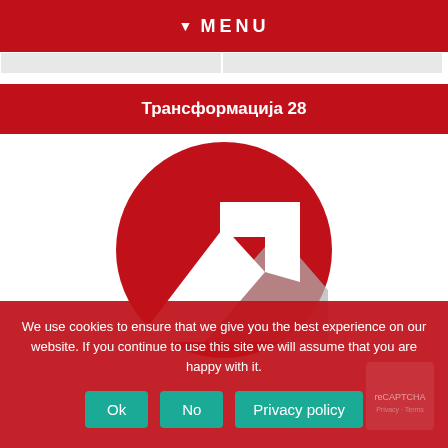▼ MENU
Трансформација 28
[Figure (logo): Red circle logo with a white upward-pointing arrow and a grey shadow element, representing the Трансформација 28 brand.]
We use cookies to ensure that we give you the best experience on our website. If you continue to use this site we will assume that you are happy with it.
Ok  No  Privacy policy